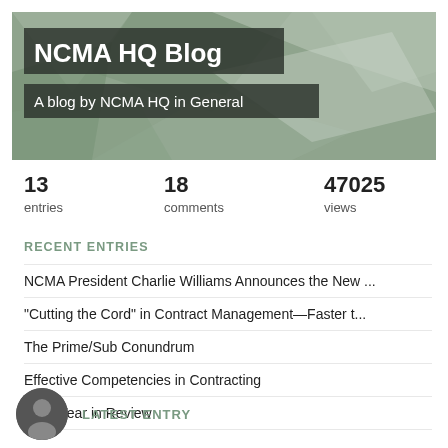[Figure (illustration): NCMA HQ Blog banner header with geometric polygon background in muted green/grey tones. Contains blog title and subtitle text overlaid on dark semi-transparent boxes.]
NCMA HQ Blog
A blog by NCMA HQ in General
13 entries   18 comments   47025 views
RECENT ENTRIES
NCMA President Charlie Williams Announces the New ...
“Cutting the Cord” in Contract Management—Faster t...
The Prime/Sub Conundrum
Effective Competencies in Contracting
2015 Year in Review
LATEST ENTRY